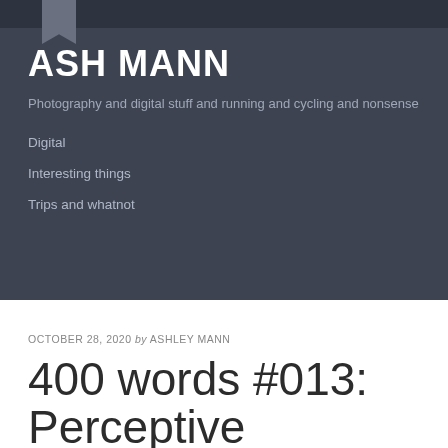ASH MANN
Photography and digital stuff and running and cycling and nonsense
Digital
Interesting things
Trips and whatnot
OCTOBER 28, 2020 by ASHLEY MANN
400 words #013: Perceptive